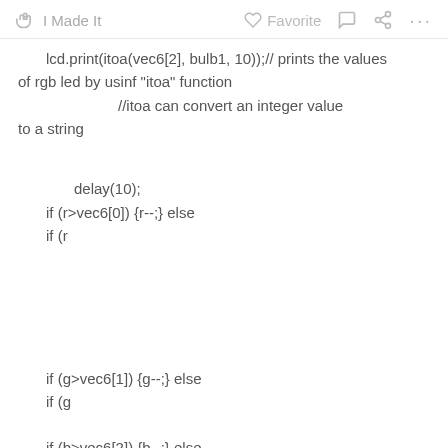I Made It   Favorite   ...
lcd.print(itoa(vec6[2], bulb1, 10));// prints the values of rgb led by usinf "itoa" function
                        //itoa can convert an integer value to a string

        delay(10);
    if (r>vec6[0]) {r--;} else
    if (r
if (g>vec6[1]) {g--;} else
    if (g
if (b>vec6[2]) {b--;} else